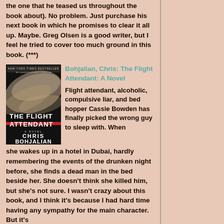the one that he teased us throughout the book about). No problem. Just purchase his next book in which he promises to clear it all up. Maybe. Greg Olsen is a good writer, but I feel he tried to cover too much ground in this book. (***)
[Figure (photo): Book cover of 'The Flight Attendant: A Novel' by Chris Bohjalian — dark cover with blurred flowing hair image and red stripe]
Bohjalian, Chris: The Flight Attendant: A Novel
Flight attendant, alcoholic, compulsive liar, and bed hopper Cassie Bowden has finally picked the wrong guy to sleep with. When she wakes up in a hotel in Dubai, hardly remembering the events of the drunken night before, she finds a dead man in the bed beside her. She doesn't think she killed him, but she's not sure. I wasn't crazy about this book, and I think it's because I had hard time having any sympathy for the main character. But it's